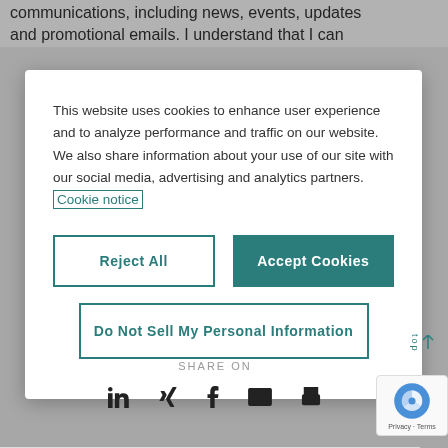communications, including news, events, updates and promotional emails. I understand that I can
This website uses cookies to enhance user experience and to analyze performance and traffic on our website. We also share information about your use of our site with our social media, advertising and analytics partners. Cookie notice
Reject All
Accept Cookies
Do Not Sell My Personal Information
SHARE ON